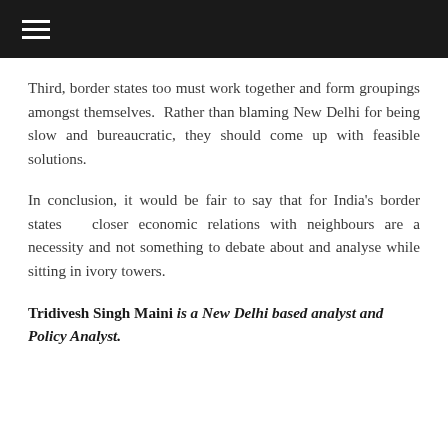≡
Third, border states too must work together and form groupings amongst themselves. Rather than blaming New Delhi for being slow and bureaucratic, they should come up with feasible solutions.
In conclusion, it would be fair to say that for India's border states closer economic relations with neighbours are a necessity and not something to debate about and analyse while sitting in ivory towers.
Tridivesh Singh Maini is a New Delhi based analyst and Policy Analyst.